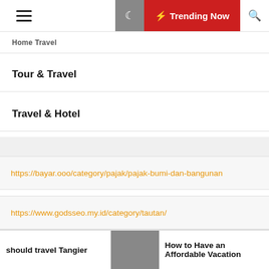Trending Now
Home Travel
Tour & Travel
Travel & Hotel
https://bayar.ooo/category/pajak/pajak-bumi-dan-bangunan
https://www.godsseo.my.id/category/tautan/
https://citratextile.com/category/mesin-cetak-kain
should travel Tangier | How to Have an Affordable Vacation